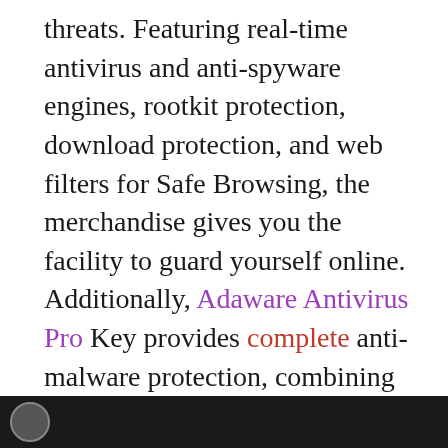threats. Featuring real-time antivirus and anti-spyware engines, rootkit protection, download protection, and web filters for Safe Browsing, the merchandise gives you the facility to guard yourself online. Additionally, Adaware Antivirus Pro Key provides complete anti-malware protection, combining Lavasoft's pioneer technology for anti-spyware with traditional antivirus protection. Adaware Antivirus Key With Crack safeguards your computer from online threats so you'll specialize in the items that interest you — connecting with friends, checking email, and watching videos.
[Figure (photo): Dark image bar at the bottom of the page with a circular icon visible on the left side]